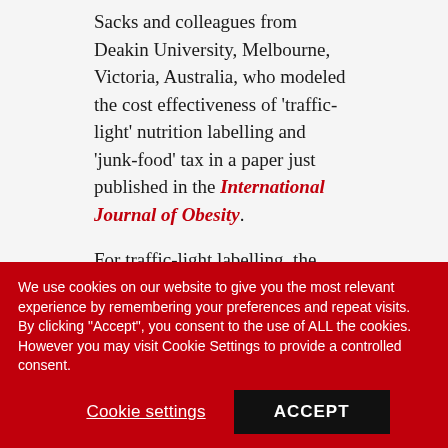Sacks and colleagues from Deakin University, Melbourne, Victoria, Australia, who modeled the cost effectiveness of 'traffic-light' nutrition labelling and 'junk-food' tax in a paper just published in the International Journal of Obesity.
For traffic-light labelling, the researchers estimated changes in energy intake based on an assumed 10% shift in consumption towards healthier options in four food
We use cookies on our website to give you the most relevant experience by remembering your preferences and repeat visits. By clicking "Accept", you consent to the use of ALL the cookies. However you may visit Cookie Settings to provide a controlled consent.